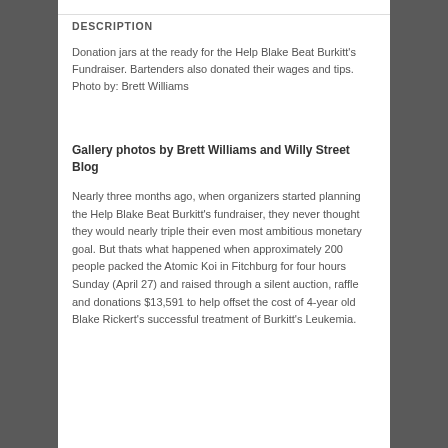DESCRIPTION
Donation jars at the ready for the Help Blake Beat Burkitt's Fundraiser. Bartenders also donated their wages and tips. Photo by: Brett Williams
Gallery photos by Brett Williams and Willy Street Blog
Nearly three months ago, when organizers started planning the Help Blake Beat Burkitt's fundraiser, they never thought they would nearly triple their even most ambitious monetary goal. But thats what happened when approximately 200 people packed the Atomic Koi in Fitchburg for four hours Sunday (April 27) and raised through a silent auction, raffle and donations $13,591 to help offset the cost of 4-year old Blake Rickert's successful treatment of Burkitt's Leukemia.